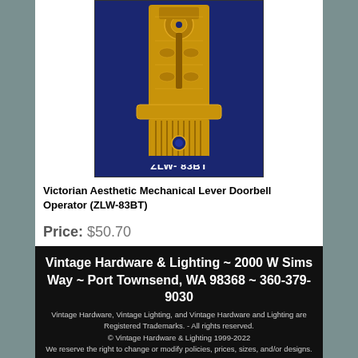[Figure (photo): Victorian Aesthetic Mechanical Lever Doorbell Operator product photo on blue background, ornate gold hardware. Label reads 'ZLW- 83BT'.]
Victorian Aesthetic Mechanical Lever Doorbell Operator (ZLW-83BT)
Price: $50.70
Vintage Hardware & Lighting ~ 2000 W Sims Way ~ Port Townsend, WA 98368 ~ 360-379-9030
Vintage Hardware, Vintage Lighting, and Vintage Hardware and Lighting are Registered Trademarks. - All rights reserved.
© Vintage Hardware & Lighting 1999-2022
We reserve the right to change or modify policies, prices, sizes, and/or designs.